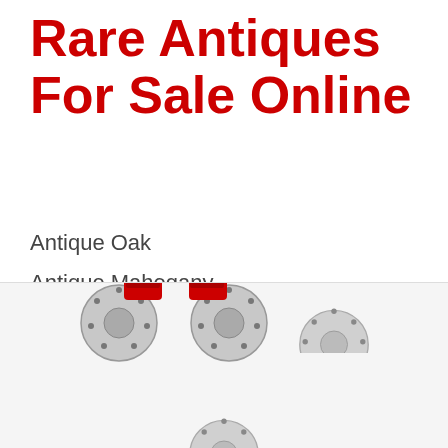Rare Antiques For Sale Online
Antique Oak
Antique Mahogany
Antique Carpet
Antique Painting
Antique Glass
Antique Plate
[Figure (photo): Automotive brake disc and caliper assemblies, two pairs visible — one pair with red calipers at top, another pair partially visible at bottom.]